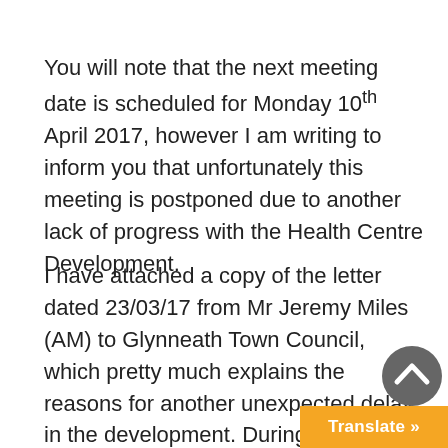You will note that the next meeting date is scheduled for Monday 10th April 2017, however I am writing to inform you that unfortunately this meeting is postponed due to another lack of progress with the Health Centre Development.
I have attached a copy of the letter dated 23/03/17 from Mr Jeremy Miles (AM) to Glynneath Town Council, which pretty much explains the reasons for another unexpected delay in the development. During a recent chance conversation with a representative from a local contractor considering submitting a tender for the project, I w...